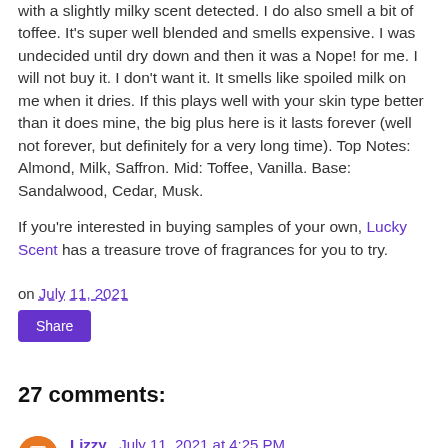with a slightly milky scent detected. I do also smell a bit of toffee. It's super well blended and smells expensive. I was undecided until dry down and then it was a Nope! for me. I will not buy it. I don't want it. It smells like spoiled milk on me when it dries. If this plays well with your skin type better than it does mine, the big plus here is it lasts forever (well not forever, but definitely for a very long time). Top Notes: Almond, Milk, Saffron. Mid: Toffee, Vanilla. Base: Sandalwood, Cedar, Musk.
If you're interested in buying samples of your own, Lucky Scent has a treasure trove of fragrances for you to try.
on July 11, 2021
Share
27 comments:
Lizzy July 11, 2021 at 4:25 PM
Awesome! I need one of the House of Oud Eggs! The keep